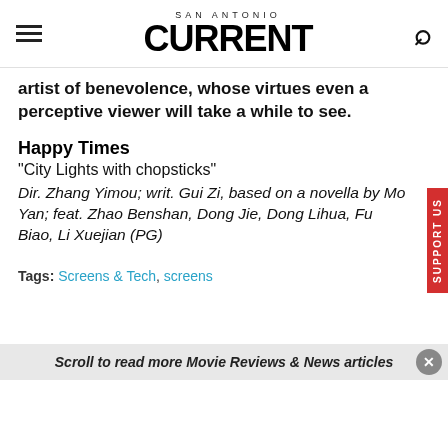SAN ANTONIO CURRENT
artist of benevolence, whose virtues even a perceptive viewer will take a while to see.
Happy Times
"City Lights with chopsticks"
Dir. Zhang Yimou; writ. Gui Zi, based on a novella by Mo Yan; feat. Zhao Benshan, Dong Jie, Dong Lihua, Fu Biao, Li Xuejian (PG)
Tags: Screens & Tech, screens
Scroll to read more Movie Reviews & News articles